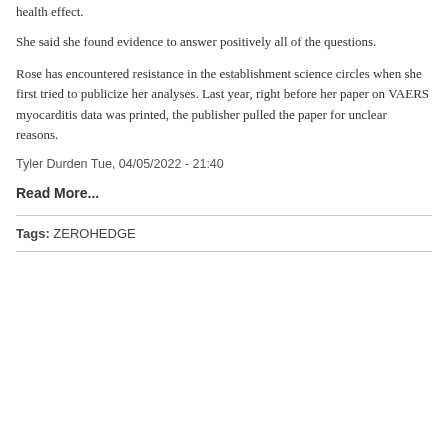health effect.
She said she found evidence to answer positively all of the questions.
Rose has encountered resistance in the establishment science circles when she first tried to publicize her analyses. Last year, right before her paper on VAERS myocarditis data was printed, the publisher pulled the paper for unclear reasons.
Tyler Durden Tue, 04/05/2022 - 21:40
Read More...
Tags: ZEROHEDGE